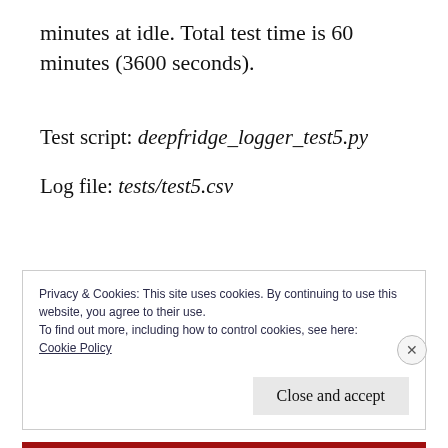minutes at idle. Total test time is 60 minutes (3600 seconds).
Test script: deepfridge_logger_test5.py
Log file: tests/test5.csv
Privacy & Cookies: This site uses cookies. By continuing to use this website, you agree to their use.
To find out more, including how to control cookies, see here:
Cookie Policy
Close and accept